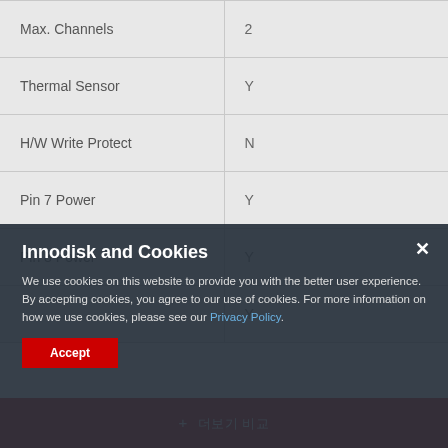| Feature | Value |
| --- | --- |
| Max. Channels | 2 |
| Thermal Sensor | Y |
| H/W Write Protect | N |
| Pin 7 Power | Y |
| Pin 8 Power | Y |
|  | Y |
Innodisk and Cookies
We use cookies on this website to provide you with the better user experience. By accepting cookies, you agree to our use of cookies. For more information on how we use cookies, please see our Privacy Policy.
+ 더보기 비교